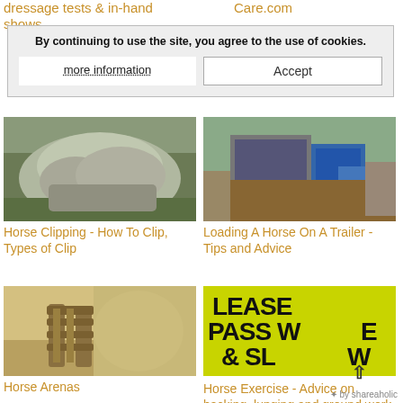dressage tests & in-hand shows
Care.com
By continuing to use the site, you agree to the use of cookies.
more information
Accept
[Figure (photo): Close-up of a grey horse being clipped outdoors on grass]
Horse Clipping - How To Clip, Types of Clip
[Figure (photo): Blue horse trailer/lorry parked outdoors with a green fence in background]
Loading A Horse On A Trailer - Tips and Advice
[Figure (photo): Sandy horse arena with a wooden gate in the foreground]
Horse Arenas
[Figure (photo): Yellow warning sign reading PLEASE PASS WIDE & SLOW]
Horse Exercise - Advice on hacking, lunging and ground work
by shareaholic